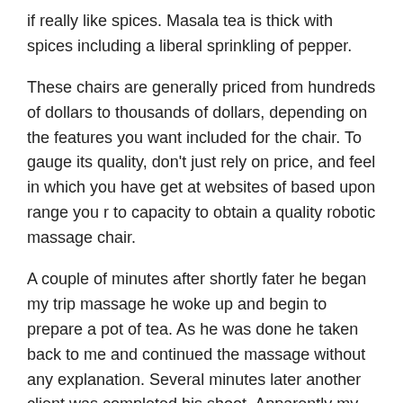if really like spices. Masala tea is thick with spices including a liberal sprinkling of pepper.
These chairs are generally priced from hundreds of dollars to thousands of dollars, depending on the features you want included for the chair. To gauge its quality, don't just rely on price, and feel in which you have get at websites of based upon range you r to capacity to obtain a quality robotic massage chair.
A couple of minutes after shortly fater he began my trip massage he woke up and begin to prepare a pot of tea. As he was done he taken back to me and continued the massage without any explanation. Several minutes later another client was completed his shoot. Apparently my therapist was the main cashier since he awoke and collected the money from your child. Again he returned without offering any explanation and lost his in...